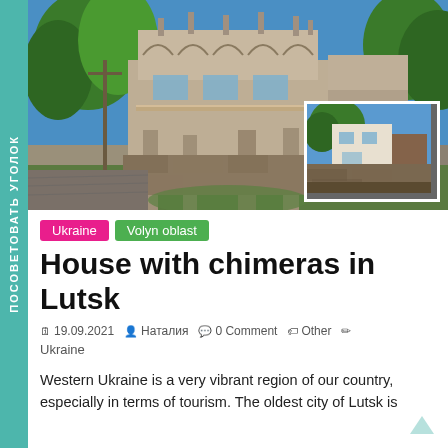[Figure (photo): Exterior of House with chimeras in Lutsk, Ukraine — a ruined ornate building with columns, balconies, and decorative stonework, with an inset photo showing another angle including a cylindrical tower and stone wall]
Ukraine   Volyn oblast
House with chimeras in Lutsk
19.09.2021   Наталия   0 Comment   Other   Ukraine
Western Ukraine is a very vibrant region of our country, especially in terms of tourism. The oldest city of Lutsk is